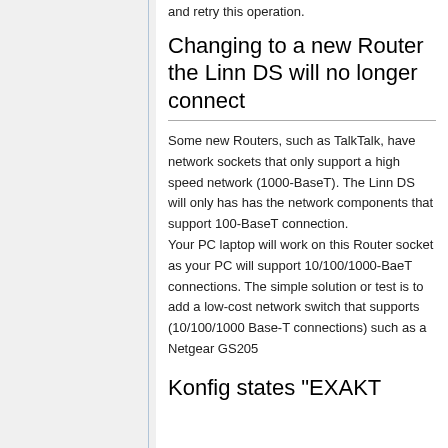and retry this operation.
Changing to a new Router the Linn DS will no longer connect
Some new Routers, such as TalkTalk, have network sockets that only support a high speed network (1000-BaseT). The Linn DS will only has has the network components that support 100-BaseT connection.
Your PC laptop will work on this Router socket as your PC will support 10/100/1000-BaeT connections. The simple solution or test is to add a low-cost network switch that supports (10/100/1000 Base-T connections) such as a Netgear GS205
Konfig states "EXAKT